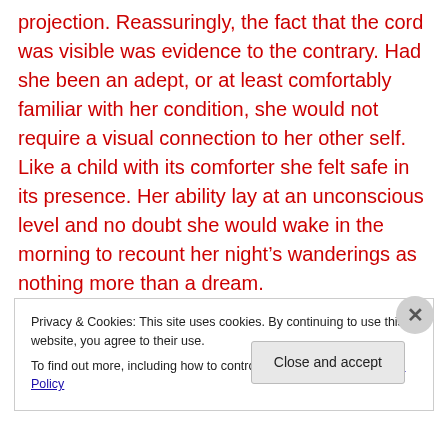projection. Reassuringly, the fact that the cord was visible was evidence to the contrary. Had she been an adept, or at least comfortably familiar with her condition, she would not require a visual connection to her other self. Like a child with its comforter she felt safe in its presence. Her ability lay at an unconscious level and no doubt she would wake in the morning to recount her night's wanderings as nothing more than a dream.
Although I had already exercised my skill to pass through solid objects, I'd never once ventured beyond the
Privacy & Cookies: This site uses cookies. By continuing to use this website, you agree to their use.
To find out more, including how to control cookies, see here: Cookie Policy